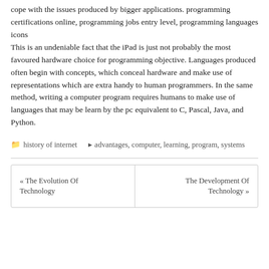cope with the issues produced by bigger applications. programming certifications online, programming jobs entry level, programming languages icons
This is an undeniable fact that the iPad is just not probably the most favoured hardware choice for programming objective. Languages produced often begin with concepts, which conceal hardware and make use of representations which are extra handy to human programmers. In the same method, writing a computer program requires humans to make use of languages that may be learn by the pc equivalent to C, Pascal, Java, and Python.
history of internet   advantages, computer, learning, program, systems
« The Evolution Of Technology
The Development Of Technology »